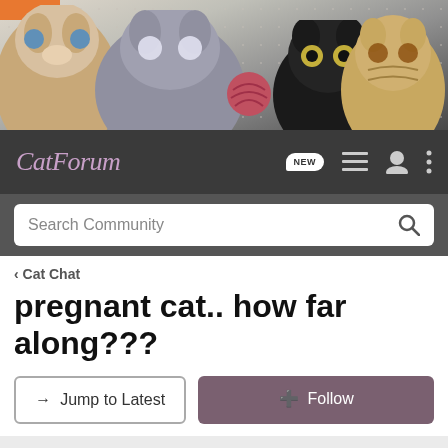[Figure (photo): Cat Forum website banner showing multiple cats including a Siamese, grey British Shorthair, black cat, tabby kittens, and a ball of red yarn on a dotted background with an orange corner tag.]
CatForum — navigation bar with NEW button, list icon, user icon, and menu icon; Search Community search bar
< Cat Chat
pregnant cat.. how far along???
→ Jump to Latest   ⊕ Follow
1 - 3 of 3 Posts
joann2872 · Registered
Joined Jul 2, 2004 · 48 Posts